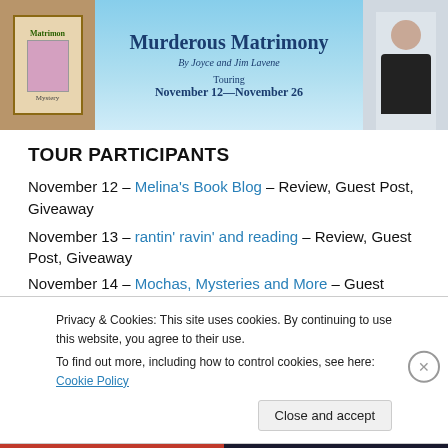[Figure (illustration): Book tour banner for 'Murderous Matrimony' by Joyce and Jim Lavene, touring November 12–November 26. Light blue gradient background with book cover image on left and author photo on right.]
TOUR PARTICIPANTS
November 12 – Melina's Book Blog – Review, Guest Post, Giveaway
November 13 – rantin' ravin' and reading – Review, Guest Post, Giveaway
November 14 – Mochas, Mysteries and More – Guest Post, Gi...
Privacy & Cookies: This site uses cookies. By continuing to use this website, you agree to their use. To find out more, including how to control cookies, see here: Cookie Policy
[Figure (other): Bottom bar with 'All in One Free App' text on red background and 'DuckDuckGo' on dark background]